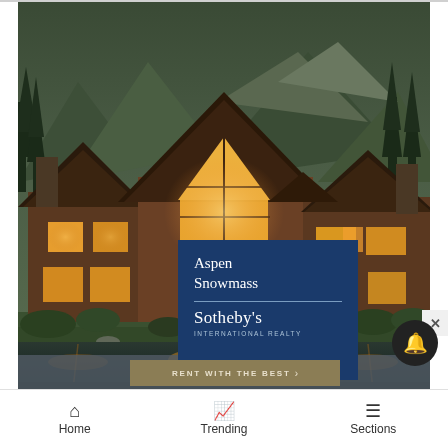[Figure (photo): Luxury log cabin lodge at dusk reflected in a still pond or lake. The large multi-wing wooden structure with stone accents has warm glowing interior lights. Mountains and evergreen trees are visible in the background. The calm water in the foreground creates a mirror-like reflection of the lodge and its lights.]
Aspen Snowmass
Sotheby's
INTERNATIONAL REALTY
RENT WITH THE BEST >
Home   Trending   Sections